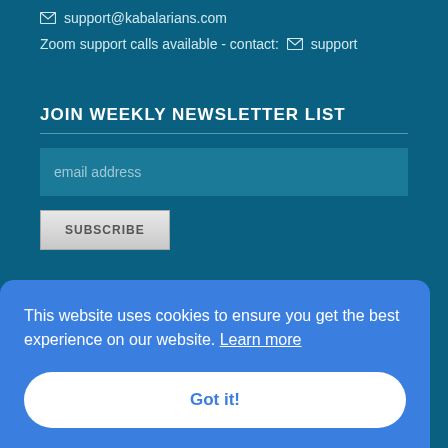support@kabalarians.com
Zoom support calls available - contact: ✉ support
JOIN WEEKLY NEWSLETTER LIST
email address (input field)
SUBSCRIBE
This website uses cookies to ensure you get the best experience on our website. Learn more
Got it!